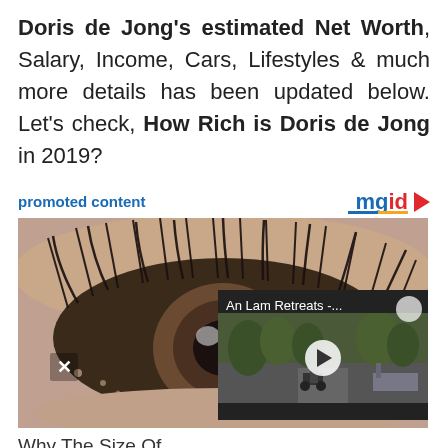Doris de Jong's estimated Net Worth, Salary, Income, Cars, Lifestyles & much more details has been updated below. Let's check, How Rich is Doris de Jong in 2019?
promoted content
[Figure (screenshot): Close-up photo of a human eye with eyelashes, with a video overlay showing 'An Lam Retreats -...' and a play button, and an X close button]
Why The Size Of We Look At Our Crush